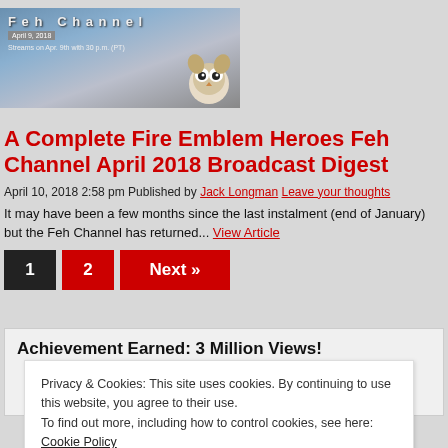[Figure (screenshot): Feh Channel April 2018 broadcast thumbnail banner with an owl mascot, text 'Feh Channel', date 'April 9, 2018', and 'Streams on Apr. 9th with 30 p.m. (PT)']
A Complete Fire Emblem Heroes Feh Channel April 2018 Broadcast Digest
April 10, 2018 2:58 pm Published by Jack Longman Leave your thoughts
It may have been a few months since the last instalment (end of January) but the Feh Channel has returned... View Article
1  2  Next »
Achievement Earned: 3 Million Views!
[Figure (illustration): Fan of playing cards in red and dark gray colors arranged in a semicircle]
Privacy & Cookies: This site uses cookies. By continuing to use this website, you agree to their use.
To find out more, including how to control cookies, see here: Cookie Policy